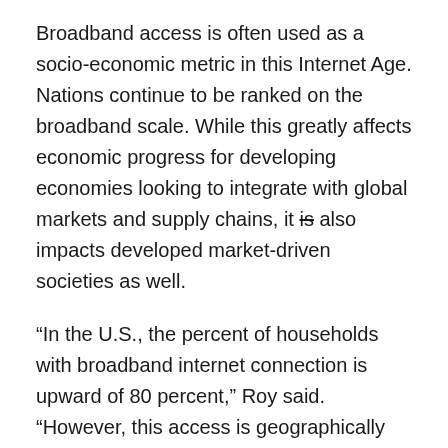Broadband access is often used as a socio-economic metric in this Internet Age. Nations continue to be ranked on the broadband scale. While this greatly affects economic progress for developing economies looking to integrate with global markets and supply chains, it is also impacts developed market-driven societies as well.
“In the U.S., the percent of households with broadband internet connection is upward of 80 percent,” Roy said. “However, this access is geographically concentrated. Reliable access largely exists in dense urban areas where the Internet service providers can turn a profit, but many low density areas (rural or otherwise limited by geographic factors) are poorly served.”